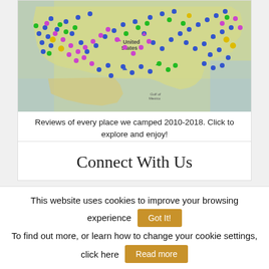[Figure (map): Interactive map of the United States showing camping locations marked with colored pins (blue, pink/magenta, green, yellow) across the country from 2010-2018.]
Reviews of every place we camped 2010-2018. Click to explore and enjoy!
Connect With Us
This website uses cookies to improve your browsing experience
Got It!
To find out more, or learn how to change your cookie settings, click here
Read more